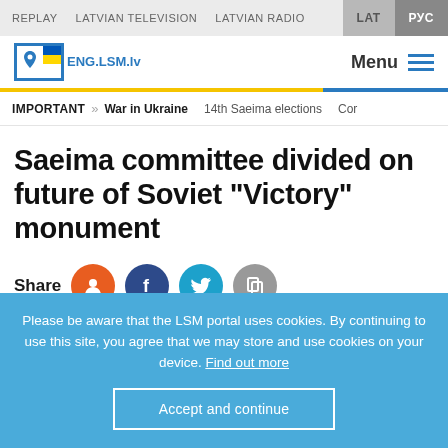REPLAY  LATVIAN TELEVISION  LATVIAN RADIO  LAT  РУС
[Figure (logo): ENG.LSM.lv logo with blue border and Ukrainian flag colors]
Menu
IMPORTANT >> War in Ukraine  14th Saeima elections  Cor...
Saeima committee divided on future of Soviet "Victory" monument
Share
Please be aware that the LSM portal uses cookies. By continuing to use this site, you agree that we may store and use cookies on your device. Find out more
Accept and continue